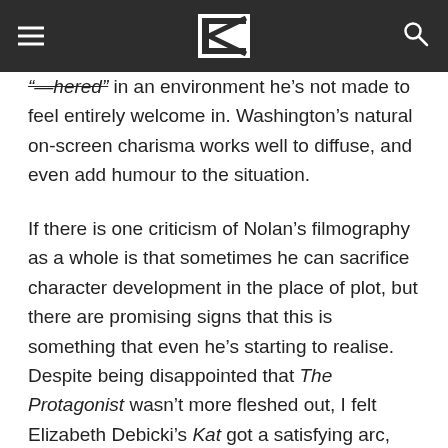[navigation header with logo, hamburger menu, and search icon]
“—hered” in an environment he’s not made to feel entirely welcome in. Washington’s natural on-screen charisma works well to diffuse, and even add humour to the situation.
If there is one criticism of Nolan’s filmography as a whole is that sometimes he can sacrifice character development in the place of plot, but there are promising signs that this is something that even he’s starting to realise. Despite being disappointed that The Protagonist wasn’t more fleshed out, I felt Elizabeth Debicki’s Kat got a satisfying arc, and Kenneth Branagh exercises his acting chops as a Russian arms dealer playing fast and loose with his own soul and the world at large.
I thought that this film was excellent; it’s almost as if